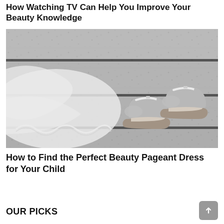How Watching TV Can Help You Improve Your Beauty Knowledge
[Figure (photo): Silver glittery flat shoes with ankle strap placed on granite stone steps next to a white tulle/lace dress hem]
How to Find the Perfect Beauty Pageant Dress for Your Child
OUR PICKS